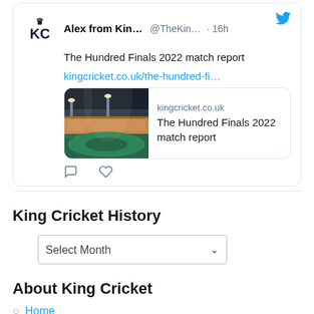[Figure (screenshot): Twitter/X tweet card from Alex from Kin... (@TheKin...) posted 16h ago, with tweet text 'The Hundred Finals 2022 match report', a link to kingcricket.co.uk/the-hundred-fi..., and a preview card showing a cricket stadium photo with title 'The Hundred Finals 2022 match report' from kingcricket.co.uk. Below are comment and like icons.]
King Cricket History
Select Month
About King Cricket
Home